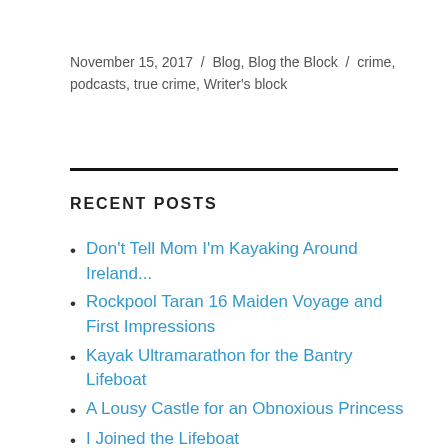November 15, 2017 / Blog, Blog the Block / crime, podcasts, true crime, Writer's block
RECENT POSTS
Don't Tell Mom I'm Kayaking Around Ireland...
Rockpool Taran 16 Maiden Voyage and First Impressions
Kayak Ultramarathon for the Bantry Lifeboat
A Lousy Castle for an Obnoxious Princess
I Joined the Lifeboat